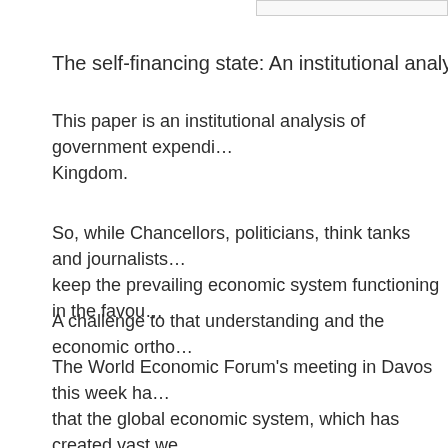The self-financing state: An institutional analysis
This paper is an institutional analysis of government expendi... Kingdom.
So, while Chancellors, politicians, think tanks and journalists... keep the prevailing economic system functioning in the favou...
A challenge to that understanding and the economic ortho...
The World Economic Forum’s meeting in Davos this week ha... that the global economic system, which has created vast we... inequalities in the distribution of real wealth for many others, their exploitation and the associated injustices, and those in... the north, under the tutelage of the US, its allies and the inst... Trade Organisation, those that have benefited over decades... Not that one is holding one’s breath! But it should not be su...